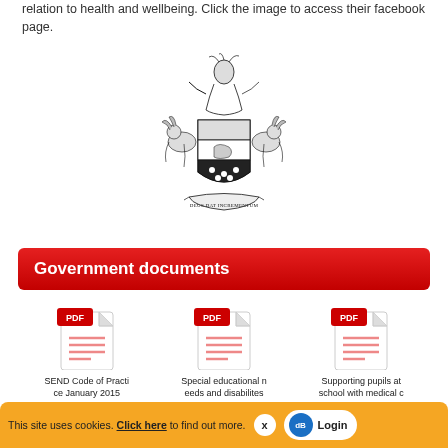relation to health and wellbeing. Click the image to access their facebook page.
[Figure (illustration): Coat of arms heraldic emblem with knight, shield, supporters, and motto banner reading DEUS DAT INCREMENTUM]
Government documents
[Figure (other): PDF icon for SEND Code of Practice January 2015]
SEND Code of Practice January 2015
[Figure (other): PDF icon for Special educational needs and disabilites]
Special educational needs and disabilites
[Figure (other): PDF icon for Supporting pupils at school with medical c]
Supporting pupils at school with medical c
This site uses cookies. Click here to find out more.